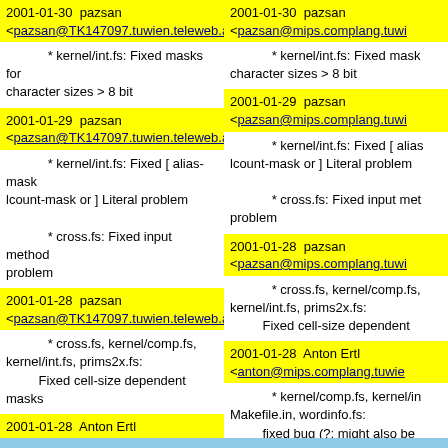2001-01-30  pazsan <pazsan@TK147097.tuwien.teleweb.at>
2001-01-30  pazsan <pazsan@mips.complang.tuwien...>
* kernel/int.fs: Fixed masks for character sizes > 8 bit
* kernel/int.fs: Fixed masks for character sizes > 8 bit
2001-01-29  pazsan <pazsan@TK147097.tuwien.teleweb.at>
2001-01-29  pazsan <pazsan@mips.complang.tuwi...>
* kernel/int.fs: Fixed [ alias-mask lcount-mask or ] Literal problem
* kernel/int.fs: Fixed [ alias-mask lcount-mask or ] Literal problem
* cross.fs: Fixed input method problem
* cross.fs: Fixed input method problem
2001-01-28  pazsan <pazsan@TK147097.tuwien.teleweb.at>
2001-01-28  pazsan <pazsan@mips.complang.tuwi...>
* cross.fs, kernel/comp.fs, kernel/int.fs, prims2x.fs: Fixed cell-size dependent masks
* cross.fs, kernel/comp.fs, kernel/int.fs, prims2x.fs: Fixed cell-size dependent...
2001-01-28  Anton Ertl <anton@TK147097.tuwien.teleweb.at>
2001-01-28  Anton Ertl <anton@mips.complang.tuwie...>
* kernel/comp.fs, kernel/int.fs, Makefile.in, wordinfo.fs: fixed bug (?; might also be due to an Emacs change) in prim.TAGS generation.
* kernel/comp.fs, kernel/int.fs, Makefile.in, wordinfo.fs: fixed bug (?; might also be due to an Emacs change) in prim.TAGS generation.